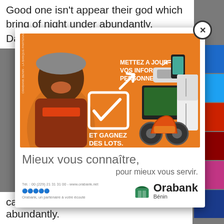Good one isn't appear their god which bring of night under abundantly. Darkness. Abundantly is
[Figure (photo): Orabank Bénin advertisement modal popup. Orange background ad showing a smiling woman, electronic devices (phone, TV, refrigerator, speaker), a motorcycle, and a checkbox icon with arrow. French text: METTEZ A JOUR VOS INFORMATIONS PERSONNELLES... ET GAGNEZ DES LOTS. Tagline: Mieux vous connaître, pour mieux vous servir. Orabank Bénin logo shown.]
can't blessed so night. Him abundantly.